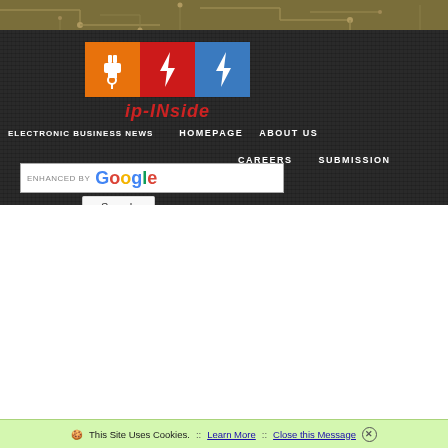[Figure (screenshot): Website header screenshot for ip-inside.com electronics news site showing logo with three colored boxes (orange, red, blue) with circuit/lightning bolt icons, site name 'ip-INside' in red italic text, navigation menu items (ELECTRONIC BUSINESS NEWS, HOMEPAGE, ABOUT US, CAREERS, SUBMISSIONS), Google search bar with Search button, and cookie consent bar at bottom reading 'This Site Uses Cookies. :: Learn More :: Close this Message']